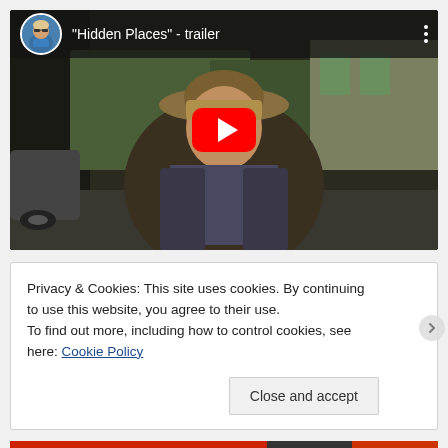[Figure (screenshot): YouTube video thumbnail for 'Hidden Places' trailer, showing a person in a hat with a blurred outdoor background. A red YouTube play button is centered on the video. The top bar shows a circular avatar photo of a blonde woman, the title '"Hidden Places" - trailer', and a three-dot menu icon.]
Privacy & Cookies: This site uses cookies. By continuing to use this website, you agree to their use.
To find out more, including how to control cookies, see here: Cookie Policy
Close and accept